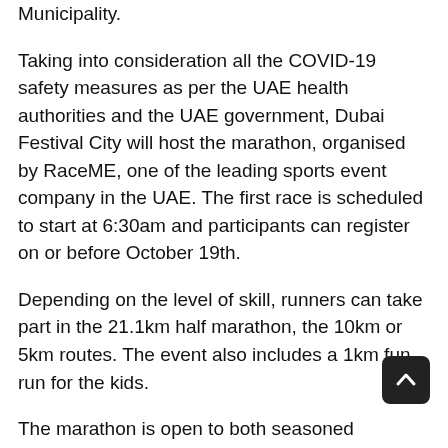Municipality.
Taking into consideration all the COVID-19 safety measures as per the UAE health authorities and the UAE government, Dubai Festival City will host the marathon, organised by RaceME, one of the leading sports event company in the UAE. The first race is scheduled to start at 6:30am and participants can register on or before October 19th.
Depending on the level of skill, runners can take part in the 21.1km half marathon, the 10km or 5km routes. The event also includes a 1km fun run for the kids.
The marathon is open to both seasoned marathon runners as well as aspiring amateurs and the route will take them through some of Dubai Festival City's most scenic locations including the Dubai Festival City